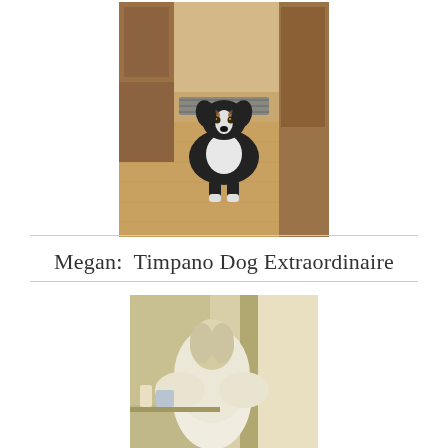[Figure (photo): A black and white dog (appears to be an Australian Shepherd or Border Collie mix) standing in a kitchen hallway with wood-look flooring, striped area rugs, and brown wooden cabinets visible in the background.]
Megan:  Timpano Dog Extraordinaire
[Figure (photo): A partial view of a person with light-colored hair sitting or standing near a kitchen counter or table, seen from behind. The setting appears to be a kitchen with light-colored walls and appliances.]